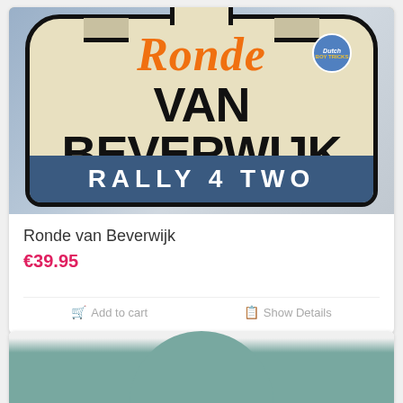[Figure (photo): Rally sign reading 'Ronde VAN BEVERWIJK RALLY 4 TWO' with Dutch Boy Tricks badge, cream background with black bold text and orange italic script, blue bottom bar, shown against a light grey/blue photo background]
Ronde van Beverwijk
€39.95
Add to cart
Show Details
[Figure (photo): Partial view of a second product card showing a teal/green circle shape at the bottom of the image area]